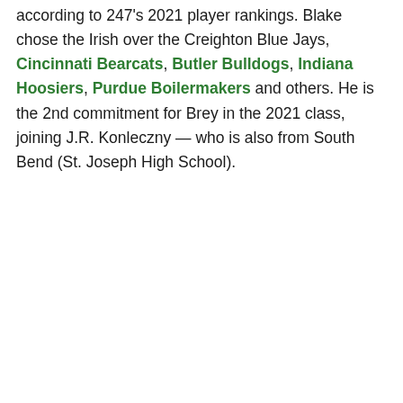according to 247's 2021 player rankings. Blake chose the Irish over the Creighton Blue Jays, Cincinnati Bearcats, Butler Bulldogs, Indiana Hoosiers, Purdue Boilermakers and others. He is the 2nd commitment for Brey in the 2021 class, joining J.R. Konleczny — who is also from South Bend (St. Joseph High School).